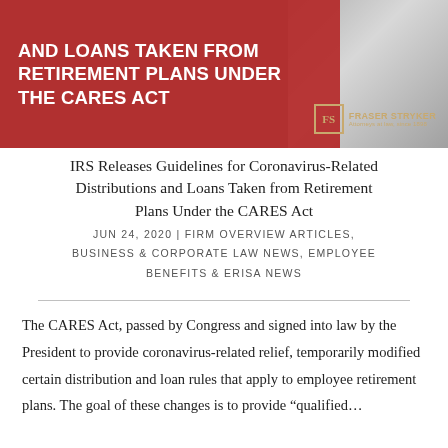[Figure (photo): Banner image with red overlay showing text 'AND LOANS TAKEN FROM RETIREMENT PLANS UNDER THE CARES ACT' on a red background with a Fraser Stryker logo in the lower right corner. Behind the red overlay is a partial photo of a person writing.]
IRS Releases Guidelines for Coronavirus-Related Distributions and Loans Taken from Retirement Plans Under the CARES Act
JUN 24, 2020 | FIRM OVERVIEW ARTICLES, BUSINESS & CORPORATE LAW NEWS, EMPLOYEE BENEFITS & ERISA NEWS
The CARES Act, passed by Congress and signed into law by the President to provide coronavirus-related relief, temporarily modified certain distribution and loan rules that apply to employee retirement plans. The goal of these changes is to provide “qualified…